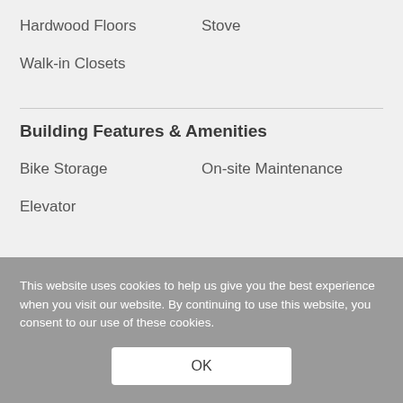Hardwood Floors
Stove
Walk-in Closets
Building Features & Amenities
Bike Storage
On-site Maintenance
Elevator
This website uses cookies to help us give you the best experience when you visit our website. By continuing to use this website, you consent to our use of these cookies.